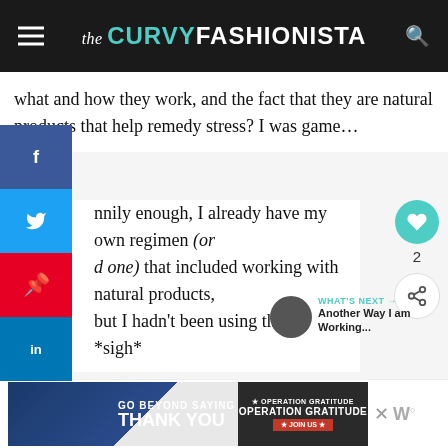the CURVY FASHIONISTA
what and how they work, and the fact that they are natural products that help remedy stress? I was game…
Funnily enough, I already have my own regimen (or had one) that included working with natural products, but I hadn't been using them! *sigh*
[Figure (screenshot): Social share sidebar with Facebook, Twitter, Pinterest, LinkedIn buttons on the left side; heart/like button (count: 2) and share button on the right side]
[Figure (screenshot): What's Next widget with dark circular thumbnail and text 'Another Way I am Working...']
[Figure (screenshot): Advertisement banner: Operation Gratitude 'Go Beyond Saying Thank You' - Join Us]